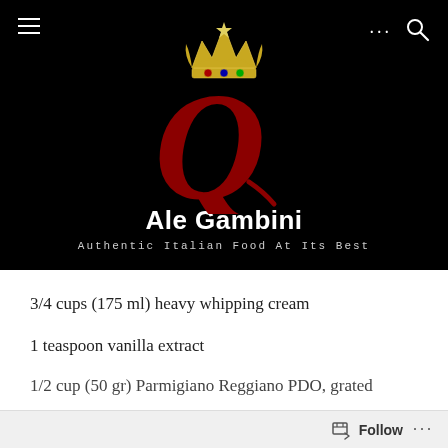[Figure (logo): Ale Gambini brand logo: golden crown above a large red stylized Q letter on black background]
Ale Gambini
Authentic Italian Food At Its Best
3/4 cups (175 ml) heavy whipping cream
1 teaspoon vanilla extract
1/2 cup (50 gr) Parmigiano Reggiano PDO, grated
Follow